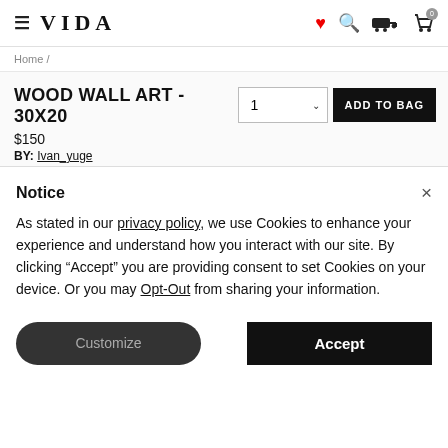VIDA
Home /
WOOD WALL ART - 30X20
$150
BY: Ivan_yuge
Notice
As stated in our privacy policy, we use Cookies to enhance your experience and understand how you interact with our site. By clicking “Accept” you are providing consent to set Cookies on your device. Or you may Opt-Out from sharing your information.
Customize | Accept